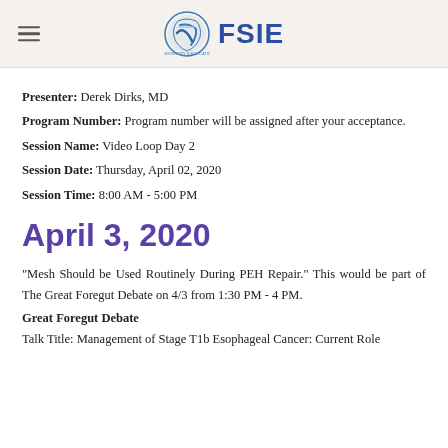FSIE logo with hamburger menu
Presenter: Derek Dirks, MD
Program Number: Program number will be assigned after your acceptance.
Session Name: Video Loop Day 2
Session Date: Thursday, April 02, 2020
Session Time: 8:00 AM - 5:00 PM
April 3, 2020
"Mesh Should be Used Routinely During PEH Repair." This would be part of The Great Foregut Debate on 4/3 from 1:30 PM - 4 PM.
Great Foregut Debate
Talk Title: Management of Stage T1b Esophageal Cancer: Current Role